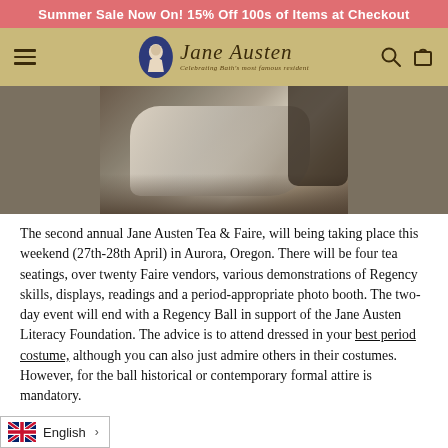Summer Sale Now On! 15% Off 100s of Items at Checkout
[Figure (logo): Jane Austen Centre logo with oval silhouette and script text, tagline: Celebrating Bath's most famous resident]
[Figure (photo): Close-up photo of period costume fabric/dress, silver-grey silk gown on wooden floor]
The second annual Jane Austen Tea & Faire, will being taking place this weekend (27th-28th April) in Aurora, Oregon. There will be four tea seatings, over twenty Faire vendors, various demonstrations of Regency skills, displays, readings and a period-appropriate photo booth. The two-day event will end with a Regency Ball in support of the Jane Austen Literacy Foundation. The advice is to attend dressed in your best period costume, although you can also just admire others in their costumes. However, for the ball historical or contemporary formal attire is mandatory.
English